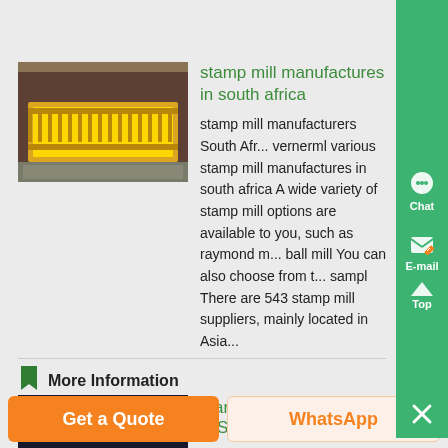[Figure (photo): Yellow industrial stamp mill or vibrating feeder equipment on ground]
stamp mill manufactures in south africa
stamp mill manufacturers South Africa vernerml various stamp mill manufactures in south africa A wide variety of stamp mill options are available to you, such as raymond mill ball mill You can also choose from the sampl There are 543 stamp mill suppliers, mainly located in Asia...
More Information
[Figure (photo): Dark photo showing person near stamp mill equipment]
Stamp Mill Manufactures In So...